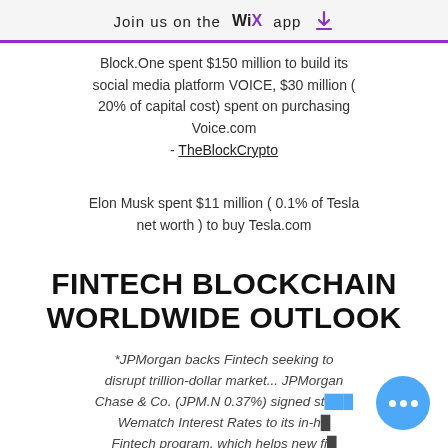Join us on the WiX app
Block.One spent $150 million to build its social media platform VOICE, $30 million ( 20% of capital cost) spent on purchasing Voice.com - TheBlockCrypto
Elon Musk spent $11 million ( 0.1% of Tesla net worth ) to buy Tesla.com
FINTECH BLOCKCHAIN WORLDWIDE OUTLOOK
*JPMorgan backs Fintech seeking to disrupt trillion-dollar market... JPMorgan Chase & Co. (JPM.N 0.37%) signed st... Wematch Interest Rates to its in-h... Fintech program, which helps new fi... build products for use across the banking